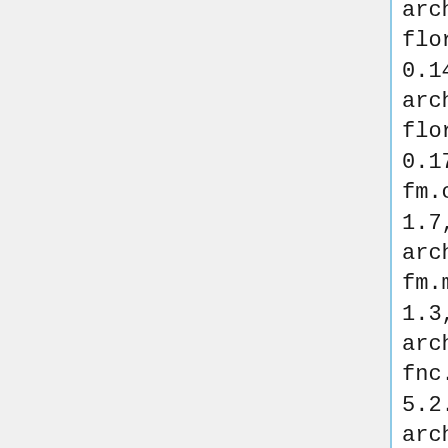archive.strangeautomata.com/ro...
florent.test.Toad
0.14t,http://robocode-archive.strangeautomata.com/rob...
florent.XSeries.X2
0.17,http://wesley3.free.fr/flo...
fm.claire
1.7,http://robocode-archive.strangeautomata.com/rob...
fm.mammillarias
1.3,http://robocode-archive.strangeautomata.com/rob...
fnc.bandit.Bandit
5.2.0,http://robocode-archive.strangeautomata.com/rob...
fnc.bandit2002.Bandit2002
4.0.2,http://robocode-archive.strangeautomata.com/rob...
fowl3628800.LightningBolt
2.6.0,http://fowl3628800.atwebp...
fowl3628800.SitAndGo
1.0.0,http://fowl3628800.atwebp...
fowl3628800.StopAndGo
1.0.0,http://fowl3628800.atwebp...
fowl3628800.ThunderStruck
2.0.0,http://fowl3628800.atwebp...